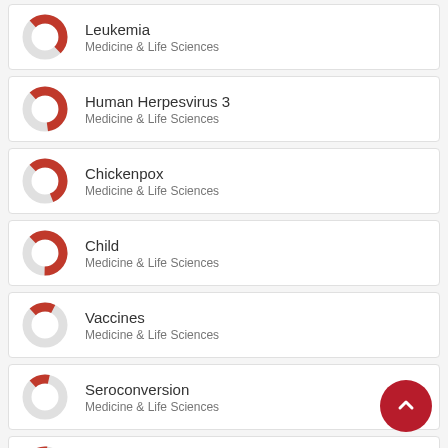Leukemia — Medicine & Life Sciences
Human Herpesvirus 3 — Medicine & Life Sciences
Chickenpox — Medicine & Life Sciences
Child — Medicine & Life Sciences
Vaccines — Medicine & Life Sciences
Seroconversion — Medicine & Life Sciences
Antibodies — Medicine & Life Sciences